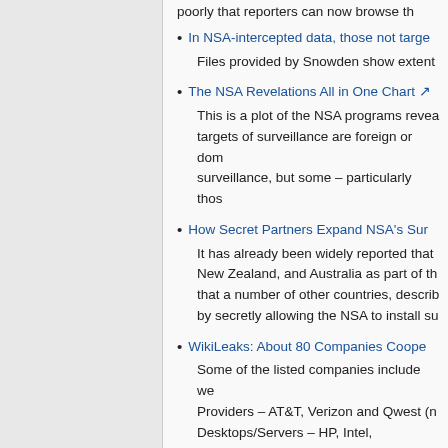poorly that reporters can now browse th
In NSA-intercepted data, those not targe... Files provided by Snowden show extent
The NSA Revelations All in One Chart [external link] This is a plot of the NSA programs revea... targets of surveillance are foreign or dom... surveillance, but some – particularly thos
How Secret Partners Expand NSA's Sur... It has already been widely reported that... New Zealand, and Australia as part of th... that a number of other countries, describ... by secretly allowing the NSA to install su
WikiLeaks: About 80 Companies Coope... Some of the listed companies include we... Providers – AT&T, Verizon and Qwest (n... Desktops/Servers – HP, Intel, Qualcomm... Oracle, EDS (now HP) and Microsoft; Se... HP, IBM, Cisco and EDS (now HP)
Invasion of the Data Snatchers...